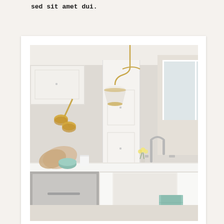sed sit amet dui.
[Figure (photo): Bright white kitchen interior with gold/brass pendant light hanging from ceiling, brass wall sconce on left, white cabinetry, kitchen island with white farmhouse sink, silver bridge faucet, stainless steel appliance drawer, mint green towel, small floral arrangement, wooden cutting boards and teal bowl on counter, light gray walls.]